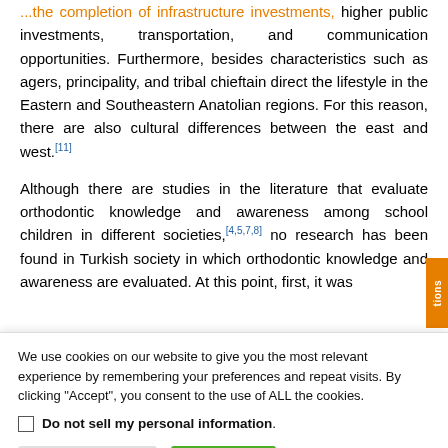...the completion of infrastructure investments, higher public investments, transportation, and communication opportunities. Furthermore, besides characteristics such as agers, principality, and tribal chieftain direct the lifestyle in the Eastern and Southeastern Anatolian regions. For this reason, there are also cultural differences between the east and west.[11]
Although there are studies in the literature that evaluate orthodontic knowledge and awareness among school children in different societies,[4,5,7,8] no research has been found in Turkish society in which orthodontic knowledge and awareness are evaluated. At this point, first, it was
We use cookies on our website to give you the most relevant experience by remembering your preferences and repeat visits. By clicking "Accept", you consent to the use of ALL the cookies.
Do not sell my personal information.
Cookie Settings | Accept